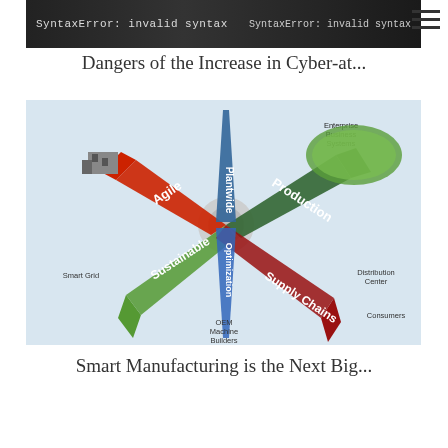[Figure (screenshot): Dark terminal/code screenshot showing 'SyntaxError: invalid syntax' error message text on dark background]
Dangers of the Increase in Cyber-at...
[Figure (infographic): Smart manufacturing infographic showing a hub-and-spoke diagram with four diagonal arrows labeled Agile, Sustainable, Production, Supply Chains, and a vertical arrow labeled Plantwide Optimization. Connected to icons including Enterprise Business Systems, Smart Grid, OEM Machine Builders, Distribution Center, Consumers, and a green oval representing sustainable environment.]
Smart Manufacturing is the Next Big...